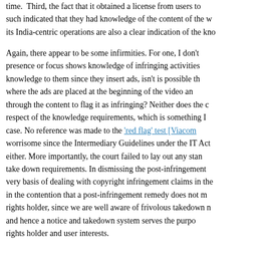time.  Third, the fact that it obtained a license from users to such indicated that they had knowledge of the content of the w its India-centric operations are also a clear indication of the kno
Again, there appear to be some infirmities. For one, I don't presence or focus shows knowledge of infringing activities knowledge to them since they insert ads, isn't is possible th where the ads are placed at the beginning of the video an through the content to flag it as infringing? Neither does the c respect of the knowledge requirements, which is something I case. No reference was made to the 'red flag' test [Viacom worrisome since the Intermediary Guidelines under the IT Act either. More importantly, the court failed to lay out any stan take down requirements. In dismissing the post-infringement very basis of dealing with copyright infringement claims in the in the contention that a post-infringement remedy does not m rights holder, since we are well aware of frivolous takedown n and hence a notice and takedown system serves the purpo rights holder and user interests.